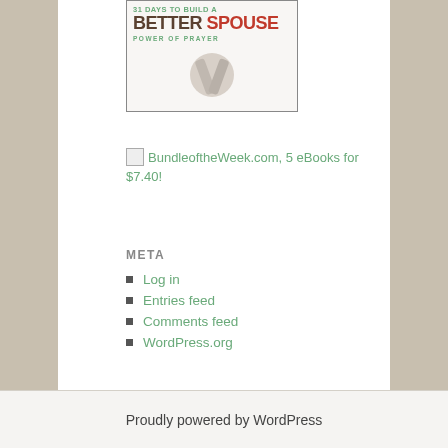[Figure (illustration): Book cover for '31 Days to Build a Better Spouse: Power of Prayer' with green and red text on light background]
[Figure (other): Broken image placeholder with alt text: BundleoftheWeek.com, 5 eBooks for $7.40!]
META
Log in
Entries feed
Comments feed
WordPress.org
Proudly powered by WordPress